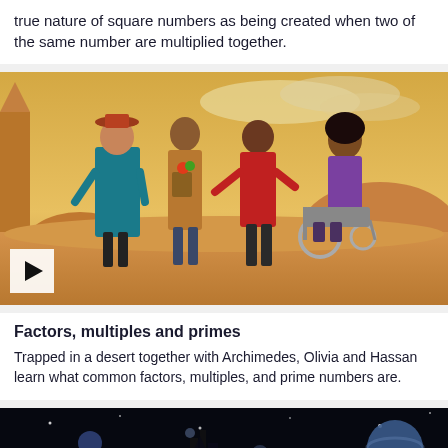true nature of square numbers as being created when two of the same number are multiplied together.
[Figure (illustration): Animated scene of four characters in a desert landscape: a woman in a teal coat and red hat, a person holding vegetables in a satchel, a young man in a red shirt, and a person seated in a wheelchair. A play button is overlaid at the bottom left.]
Factors, multiples and primes
Trapped in a desert together with Archimedes, Olivia and Hassan learn what common factors, multiples, and prime numbers are.
[Figure (photo): Dark space scene with planets visible, bottom portion of next card.]